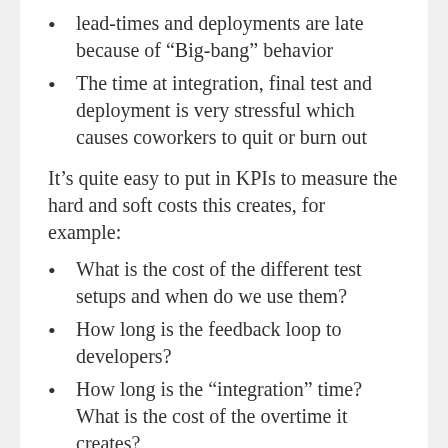lead-times and deployments are late because of “Big-bang” behavior
The time at integration, final test and deployment is very stressful which causes coworkers to quit or burn out
It’s quite easy to put in KPIs to measure the hard and soft costs this creates, for example:
What is the cost of the different test setups and when do we use them?
How long is the feedback loop to developers?
How long is the “integration” time? What is the cost of the overtime it creates?
How much manual re-work is done during test and deployment? What is the ROI of that?